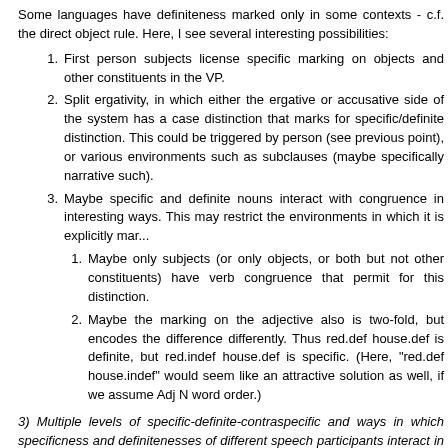Some languages have definiteness marked only in some contexts - c.f. the direct object rule. Here, I see several interesting possibilities:
First person subjects license specific marking on objects and other constituents in the VP.
Split ergativity, in which either the ergative or accusative side of the system has a case distinction that marks for specific/definite distinction. This could be triggered by person (see previous point), or various environments such as subclauses (maybe specifically narrative such).
Maybe specific and definite nouns interact with congruence in interesting ways. This may restrict the environments in which it is explicitly marked.
Maybe only subjects (or only objects, or both but not other constituents) have verb congruence that permit for this distinction.
Maybe the marking on the adjective also is two-fold, but encodes the difference differently. Thus red.def house.def is definite, but red.indef house.def is specific. (Here, "red.def house.indef" would seem like an attractive solution as well, if we assume Adj N word order.)
3) Multiple levels of specific-definite-contraspecific and ways in which specificness and definitenesses of different speech participants interact in m...
It is conceivable, that a speaker might want to communicate that he does not have a clear idea yet of the thing the listener has spoken of, and so could mark their understanding as [+definite -specific]. In such a language, clearly, both specificity and definiteness need to be marked independently - but potentially, it could be marked independently in a way that isn't always visible or always clearly...